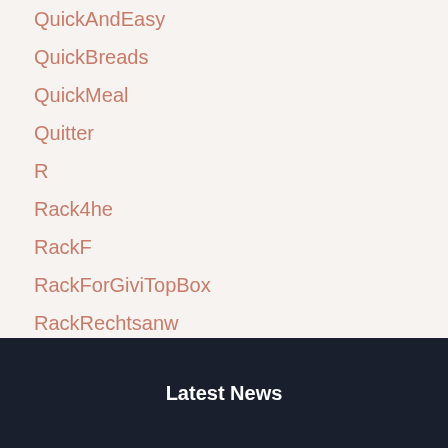QuickAndEasy
QuickBreads
QuickMeal
Quitter
R
Rack4he
RackF
RackForGiviTopBox
RackRechtsanw
Latest News